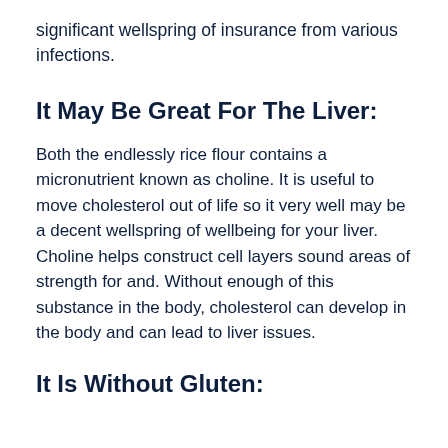significant wellspring of insurance from various infections.
It May Be Great For The Liver:
Both the endlessly rice flour contains a micronutrient known as choline. It is useful to move cholesterol out of life so it very well may be a decent wellspring of wellbeing for your liver. Choline helps construct cell layers sound areas of strength for and. Without enough of this substance in the body, cholesterol can develop in the body and can lead to liver issues.
It Is Without Gluten: